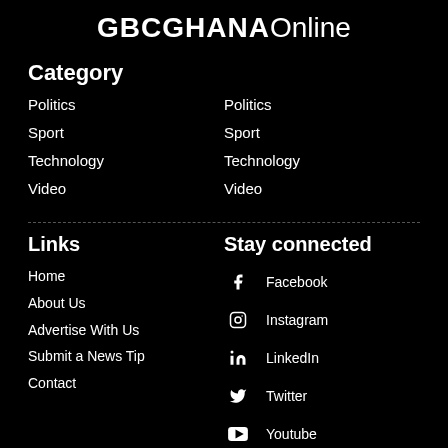GBCGHANAOnline
Category
Politics
Sport
Technology
Video
Politics
Sport
Technology
Video
Links
Stay connected
Home
About Us
Advertise With Us
Submit a News Tip
Contact
Facebook
Instagram
LinkedIn
Twitter
Youtube